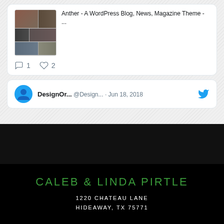[Figure (screenshot): Tweet card showing image thumbnails and text: 'Anther - A WordPress Blog, News, Magazine Theme - ...' with 1 comment and 2 likes]
[Figure (screenshot): Tweet card showing DesignOr... @Design... · Jun 18, 2018 with blue bird avatar and Twitter logo]
[Figure (other): Dark black navigation/separator bar]
CALEB & LINDA PIRTLE
1220 CHATEAU LANE
HIDEAWAY, TX 75771